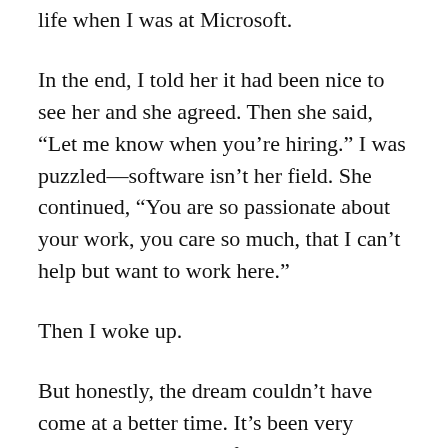life when I was at Microsoft.
In the end, I told her it had been nice to see her and she agreed. Then she said, “Let me know when you’re hiring.” I was puzzled—software isn’t her field. She continued, “You are so passionate about your work, you care so much, that I can’t help but want to work here.”
Then I woke up.
But honestly, the dream couldn’t have come at a better time. It’s been very mixed at work, a lot of challenges and trials, but also some exciting things just around the corner. And sometimes in the thick of things it’s hard to